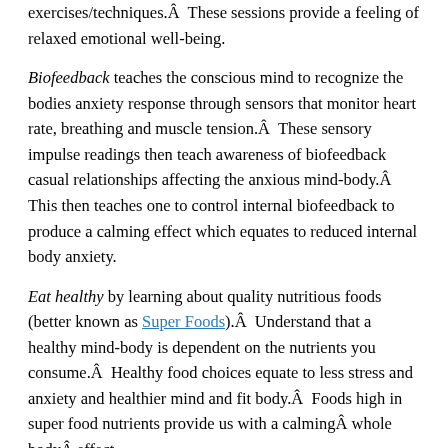exercises/techniques.Â  These sessions provide a feeling of relaxed emotional well-being.
Biofeedback teaches the conscious mind to recognize the bodies anxiety response through sensors that monitor heart rate, breathing and muscle tension.Â  These sensory impulse readings then teach awareness of biofeedback casual relationships affecting the anxious mind-body.Â  This then teaches one to control internal biofeedback to produce a calming effect which equates to reduced internal body anxiety.
Eat healthy by learning about quality nutritious foods (better known as Super Foods).Â  Understand that a healthy mind-body is dependent on the nutrients you consume.Â  Healthy food choices equate to less stress and anxiety and healthier mind and fit body.Â  Foods high in super food nutrients provide us with a calmingÂ whole bodyÂ effect.